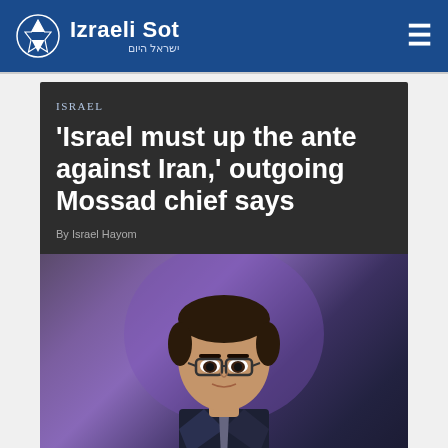Izraeli Sot | ישראל היום
ISRAEL
'Israel must up the ante against Iran,' outgoing Mossad chief says
By Israel Hayom
[Figure (photo): Photo of a man with dark hair and glasses wearing a dark suit, speaking at an event with a blue/purple lit background]